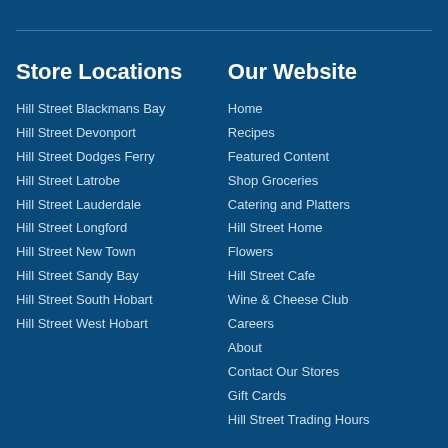Store Locations
Hill Street Blackmans Bay
Hill Street Devonport
Hill Street Dodges Ferry
Hill Street Latrobe
Hill Street Lauderdale
Hill Street Longford
Hill Street New Town
Hill Street Sandy Bay
Hill Street South Hobart
Hill Street West Hobart
Our Website
Home
Recipes
Featured Content
Shop Groceries
Catering and Platters
Hill Street Home
Flowers
Hill Street Cafe
Wine & Cheese Club
Careers
About
Contact Our Stores
Gift Cards
Hill Street Trading Hours